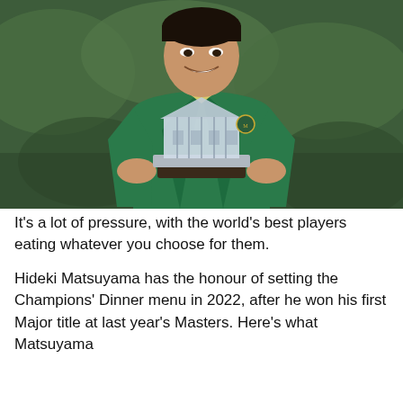[Figure (photo): Hideki Matsuyama wearing a green Masters jacket and holding the Masters Tournament crystal trophy (a replica of the Augusta National clubhouse on a silver and dark wood base), smiling, with trees in the background.]
It's a lot of pressure, with the world's best players eating whatever you choose for them.
Hideki Matsuyama has the honour of setting the Champions' Dinner menu in 2022, after he won his first Major title at last year's Masters. Here's what Matsuyama